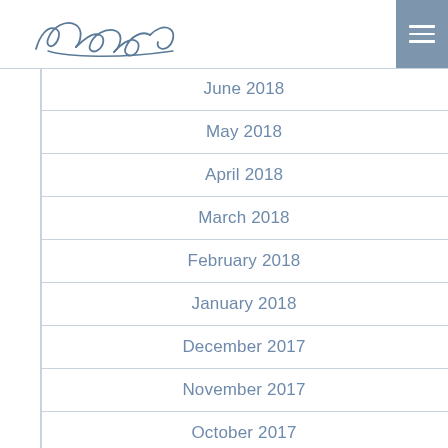[Figure (illustration): Handwritten signature in cursive script]
June 2018
May 2018
April 2018
March 2018
February 2018
January 2018
December 2017
November 2017
October 2017
September 2017
August 2017